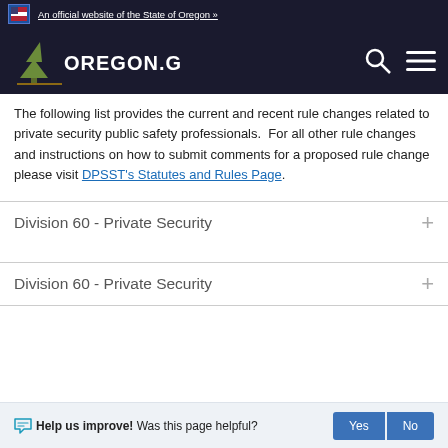An official website of the State of Oregon »
[Figure (logo): Oregon.gov logo with pine tree on dark background, search icon, and hamburger menu icon]
The following list provides the current and recent rule changes related to private security public safety professionals.  For all other rule changes and instructions on how to submit comments for a proposed rule change please visit DPSST's Statutes and Rules Page.
Division 60 - Private Security
Division 60 - Private Security
Help us improve! Was this page helpful?